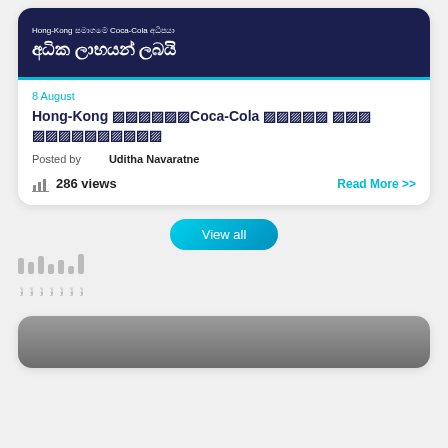[Figure (screenshot): Card with dark navy background showing Sinhala text and Coca-Cola mention, with teal bottom border]
8 August
Hong-Kong [Sinhala]Coca-Cola [Sinhala] [Sinhala] [Sinhala]
Posted by   Uditha Navaratne
286 views
Read More >>
View all
[Figure (other): Small vertical bar labels/legend area]
[Figure (photo): Partial photo visible at bottom of page]